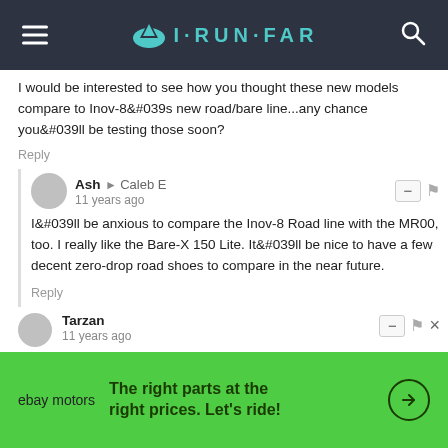I·RUN·FAR
I would be interested to see how you thought these new models compare to Inov-8&#039s new road/bare line...any chance you&#039ll be testing those soon?
Reply
Ash → Caleb E
11 years ago
I&#039ll be anxious to compare the Inov-8 Road line with the MR00, too. I really like the Bare-X 150 Lite. It&#039ll be nice to have a few decent zero-drop road shoes to compare in the near future.
Reply
Tarzan
11 years ago
[Figure (other): eBay Motors advertisement banner: green background, ebay motors logo, text 'The right parts at the right prices. Let's ride!']